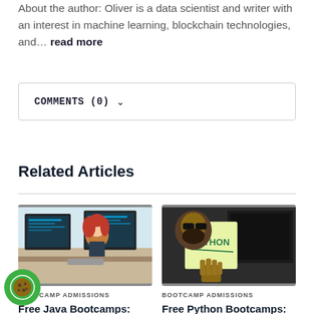About the author: Oliver is a data scientist and writer with an interest in machine learning, blockchain technologies, and… read more
COMMENTS (0) ˅
Related Articles
[Figure (photo): Woman with red hair sitting at a computer desk with multiple monitors showing code]
BOOTCAMP ADMISSIONS
Free Java Bootcamps: Learn Java for Free
[Figure (photo): Man with beard holding up a sticky note that says PYTHON in front of computer screens]
BOOTCAMP ADMISSIONS
Free Python Bootcamps: Learn